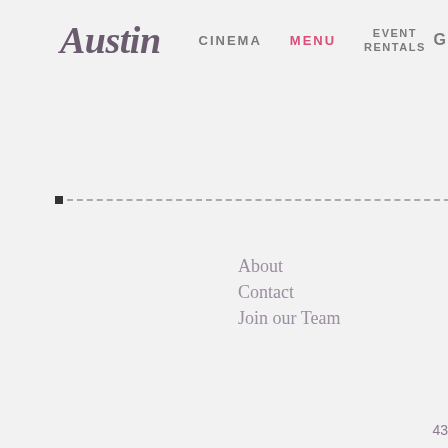Austin  CINEMA  MENU  EVENT RENTALS  G
About
Contact
Join our Team
43